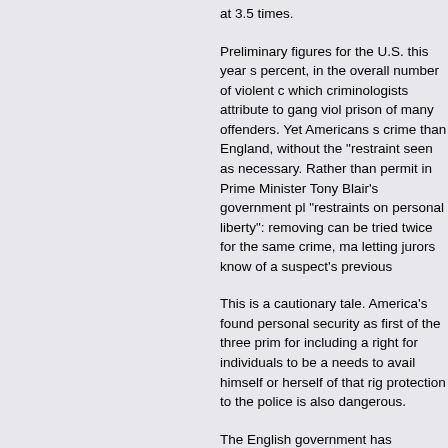at 3.5 times.
Preliminary figures for the U.S. this year s percent, in the overall number of violent c which criminologists attribute to gang viol prison of many offenders. Yet Americans s crime than England, without the "restraint seen as necessary. Rather than permit in Prime Minister Tony Blair's government pl "restraints on personal liberty": removing can be tried twice for the same crime, ma letting jurors know of a suspect's previous
This is a cautionary tale. America's found personal security as first of the three prim for including a right for individuals to be a needs to avail himself or herself of that rig protection to the police is also dangerous.
The English government has effectively a their 1689 Bill of Rights, to "have arms fo force it can succeed in imposing only on b to depriving its people of the ability to pro not less, dangerous society. Despite the B values," English policy makers would do w law values, which stood them so well in th